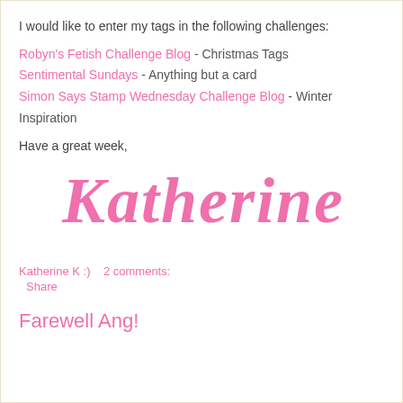I would like to enter my tags in the following challenges:
Robyn's Fetish Challenge Blog - Christmas Tags
Sentimental Sundays - Anything but a card
Simon Says Stamp Wednesday Challenge Blog - Winter Inspiration
Have a great week,
[Figure (illustration): Handwritten-style cursive signature reading 'Katherine' in pink]
Katherine K :)    2 comments:
Share
Farewell Ang!